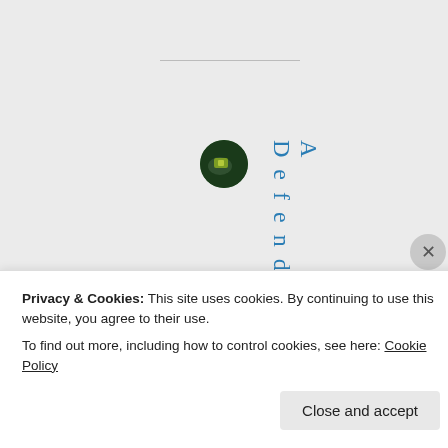[Figure (screenshot): Screenshot of a webpage showing a circular avatar icon with a green/dark image, and vertical text reading 'Defending A' in blue, on a light grey background. A horizontal rule appears above. A cookie consent banner overlays the bottom portion with text about cookies and a 'Close and accept' button.]
Privacy & Cookies: This site uses cookies. By continuing to use this website, you agree to their use.
To find out more, including how to control cookies, see here: Cookie Policy
Close and accept